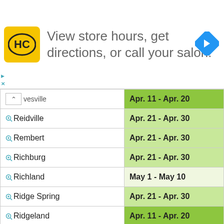[Figure (other): Advertisement banner for Hair Club (HC) salon with logo, text 'View store hours, get directions, or call your salon!', and a blue navigation arrow icon.]
| Location | Date Range |
| --- | --- |
| (up arrow) vesville | Apr. 11 - Apr. 20 |
| Reidville | Apr. 21 - Apr. 30 |
| Rembert | Apr. 21 - Apr. 30 |
| Richburg | Apr. 21 - Apr. 30 |
| Richland | May 1 - May 10 |
| Ridge Spring | Apr. 21 - Apr. 30 |
| Ridgeland | Apr. 11 - Apr. 20 |
| Ridgeville | Apr. 11 - Apr. 20 |
| Ridgeway | Apr. 21 - Apr. 30 |
| Rion | Apr. 21 - Apr. 30 |
| Riverview | Apr. 21 - Apr. 30 |
| Rock Hill | Apr. 21 - Apr. 30 |